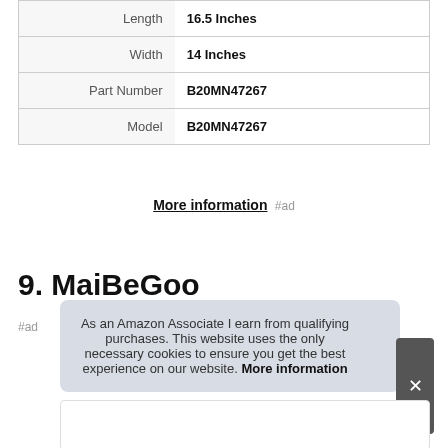| Length | 16.5 Inches |
| Width | 14 Inches |
| Part Number | B20MN47267 |
| Model | B20MN47267 |
More information #ad
9. MaiBeGoo
#ad
As an Amazon Associate I earn from qualifying purchases. This website uses the only necessary cookies to ensure you get the best experience on our website. More information